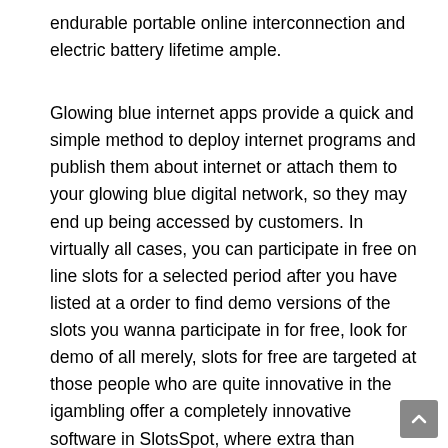endurable portable online interconnection and electric battery lifetime ample.
Glowing blue internet apps provide a quick and simple method to deploy internet programs and publish them about internet or attach them to your glowing blue digital network, so they may end up being accessed by customers. In virtually all cases, you can participate in free on line slots for a selected period after you have listed at a order to find demo versions of the slots you wanna participate in for free, look for demo of all merely, slots for free are targeted at those people who are quite innovative in the igambling offer a completely innovative software in SlotsSpot, where extra than absolutely free online slots that can be played in a mobile computer or phone possess presently gathered.Pharaoh’s Good fortune. Their work focussed on video games that offer purchasable randomised rewards, called ‘loot boxes’, and raises the question of whether like games should be controlled.